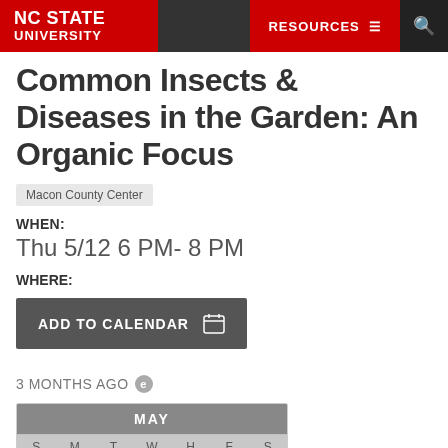NC STATE UNIVERSITY | RESOURCES | Search
Common Insects & Diseases in the Garden: An Organic Focus
Macon County Center
WHEN: Thu 5/12 6 PM - 8 PM
WHERE:
[Figure (other): ADD TO CALENDAR button with calendar icon]
3 MONTHS AGO
[Figure (table-as-image): May calendar grid showing days S M T W H F S]